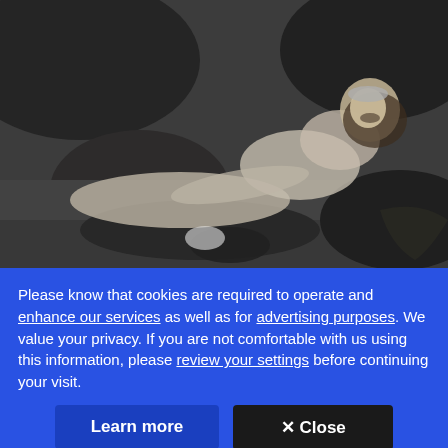[Figure (photo): Black and white vintage photograph of a woman dressed as a mermaid, lying on rocks near water, smiling at the camera.]
Please know that cookies are required to operate and enhance our services as well as for advertising purposes. We value your privacy. If you are not comfortable with us using this information, please review your settings before continuing your visit.
Learn more
✕ Close